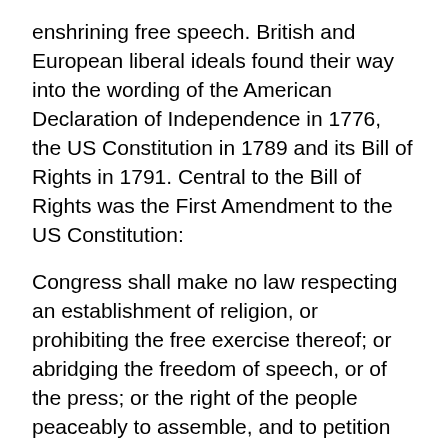enshrining free speech. British and European liberal ideals found their way into the wording of the American Declaration of Independence in 1776, the US Constitution in 1789 and its Bill of Rights in 1791. Central to the Bill of Rights was the First Amendment to the US Constitution:
Congress shall make no law respecting an establishment of religion, or prohibiting the free exercise thereof; or abridging the freedom of speech, or of the press; or the right of the people peaceably to assemble, and to petition the Government for a redress of grievances.
US government attempts to restrain publications in the national interest have usually failed on First Amendment grounds.
The Canadian Charter of Rights and Freedoms (1982),